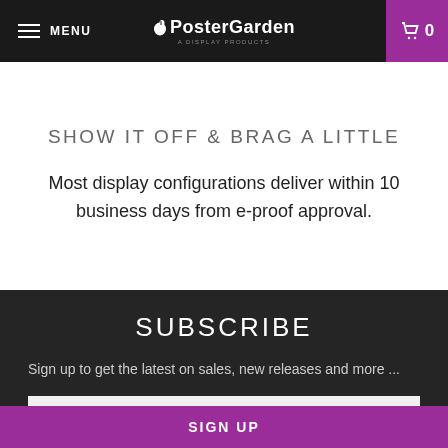MENU | PosterGarden | 0
SHOW IT OFF & BRAG A LITTLE
Most display configurations deliver within 10 business days from e-proof approval.
SUBSCRIBE
Sign up to get the latest on sales, new releases and more ...
Enter your email address...
SIGN UP